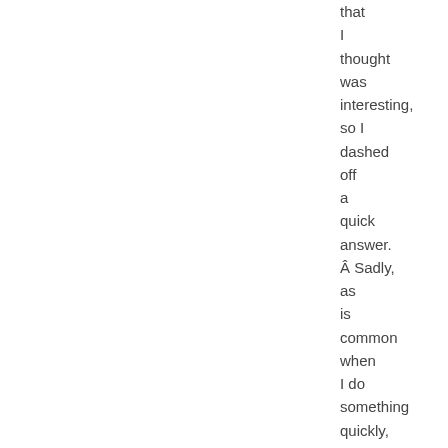that I thought was interesting, so I dashed off a quick answer.  Sadly, as is common when I do something quickly, I made a mistake.  So I need